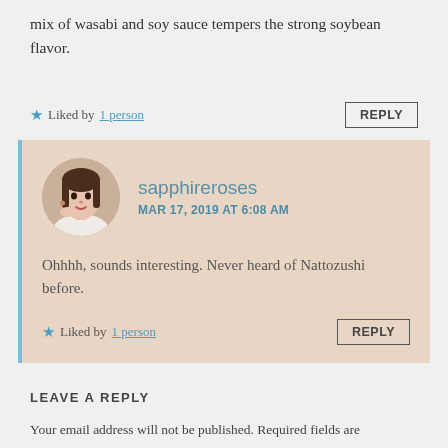mix of wasabi and soy sauce tempers the strong soybean flavor.
★ Liked by 1 person
sapphireroses
MAR 17, 2019 AT 6:08 AM

Ohhhh, sounds interesting. Never heard of Nattozushi before.

★ Liked by 1 person
LEAVE A REPLY
Your email address will not be published. Required fields are